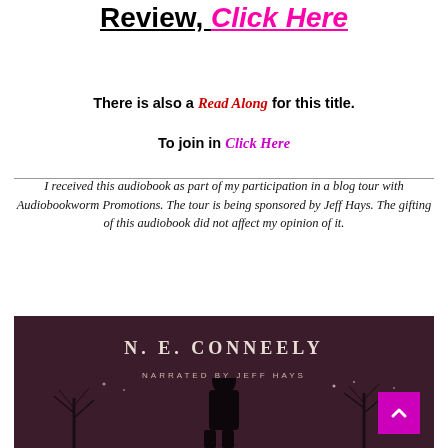Review, Click Here
There is also a Read Along for this title.
To join in Click Here
I received this audiobook as part of my participation in a blog tour with Audiobookworm Promotions. The tour is being sponsored by Jeff Hays. The gifting of this audiobook did not affect my opinion of it.
[Figure (photo): Book cover showing N. E. Conneely, Narrated by Jeff Hays, with a dark silhouette figure against a moody background with bare trees.]